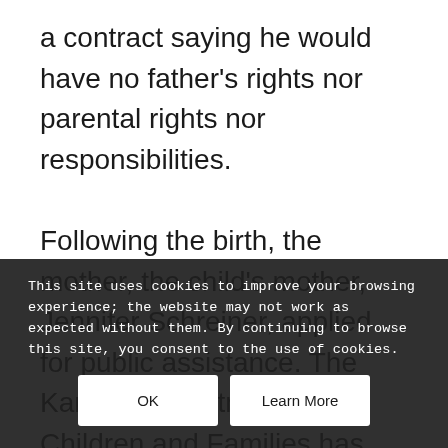a contract saying he would have no father's rights nor parental rights nor responsibilities.

Following the birth, the mother, the child's mother, Jennifer Schreiner, applied for public assistance. The Kansas Department for Children and Families has paid her about $6,000 in public assistance. That agency filed suit against Marotta to recoup the money saying that he owes back and future child support.
This site uses cookies to improve your browsing experience; the website may not work as expected without them. By continuing to browse this site, you consent to the use of cookies.